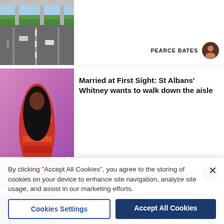[Figure (photo): Aerial/street-level view of a motorway with road markings, concrete bridges overhead, green trees lining road, cars visible]
PEARCE BATES
[Figure (photo): Young Black woman with long dark hair, wearing a red/orange multicolored dress, posing against a pink/purple background]
Married at First Sight: St Albans' Whitney wants to walk down the aisle
WILL DURRANT
[Figure (photo): Dark train door/exterior, partially visible, dark tones]
Trains between St Albans and Luton cancelled due to fire
By clicking “Accept All Cookies”, you agree to the storing of cookies on your device to enhance site navigation, analyze site usage, and assist in our marketing efforts.
Cookies Settings
Accept All Cookies